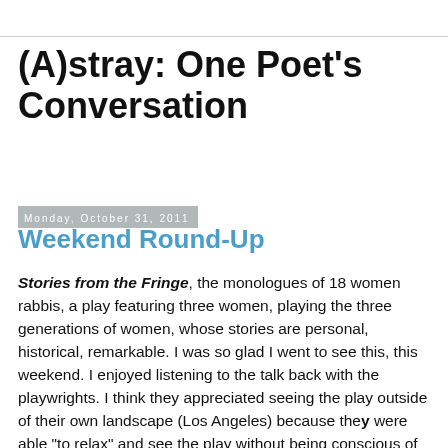(A)stray: One Poet's Conversation
Monday, October 31, 2011
Weekend Round-Up
Stories from the Fringe, the monologues of 18 women rabbis, a play featuring three women, playing the three generations of women, whose stories are personal, historical, remarkable. I was so glad I went to see this, this weekend. I enjoyed listening to the talk back with the playwrights. I think they appreciated seeing the play outside of their own landscape (Los Angeles) because they were able "to relax" and see the play without being conscious of their significant roles. Listening to their detailed explanations of what it means to be a rabbi was poignant and complicated in the many ways one is Jewish-- religious and cultural; and evident that they don't want to be "women" rabbis; they want